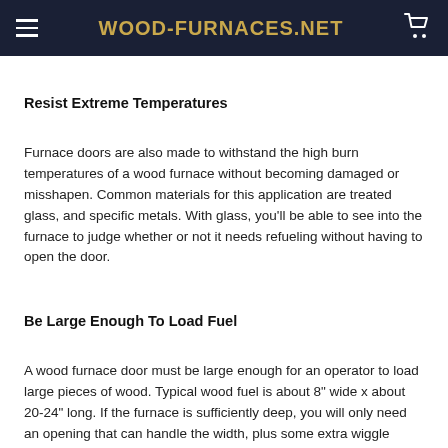WOOD-FURNACES.NET
Resist Extreme Temperatures
Furnace doors are also made to withstand the high burn temperatures of a wood furnace without becoming damaged or misshapen. Common materials for this application are treated glass, and specific metals. With glass, you'll be able to see into the furnace to judge whether or not it needs refueling without having to open the door.
Be Large Enough To Load Fuel
A wood furnace door must be large enough for an operator to load large pieces of wood. Typical wood fuel is about 8" wide x about 20-24" long. If the furnace is sufficiently deep, you will only need an opening that can handle the width, plus some extra wiggle room.